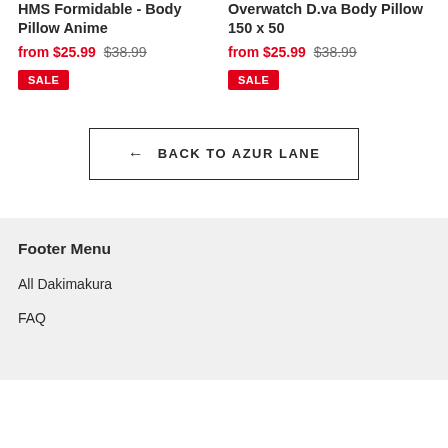HMS Formidable - Body Pillow Anime
from $25.99 $38.99
SALE
Overwatch D.va Body Pillow 150 x 50
from $25.99 $38.99
SALE
← BACK TO AZUR LANE
Footer Menu
All Dakimakura
FAQ